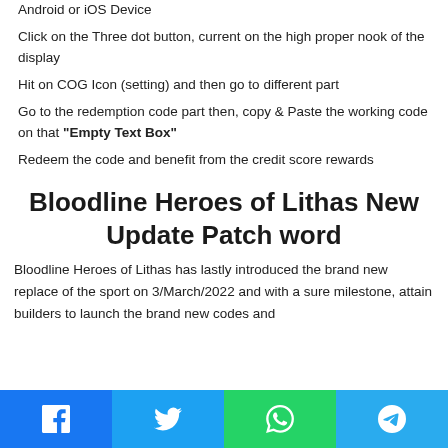Android or iOS Device
Click on the Three dot button, current on the high proper nook of the display
Hit on COG Icon (setting) and then go to different part
Go to the redemption code part then, copy & Paste the working code on that "Empty Text Box"
Redeem the code and benefit from the credit score rewards
Bloodline Heroes of Lithas New Update Patch word
Bloodline Heroes of Lithas has lastly introduced the brand new replace of the sport on 3/March/2022 and with a sure milestone, attain builders to launch the brand new codes and